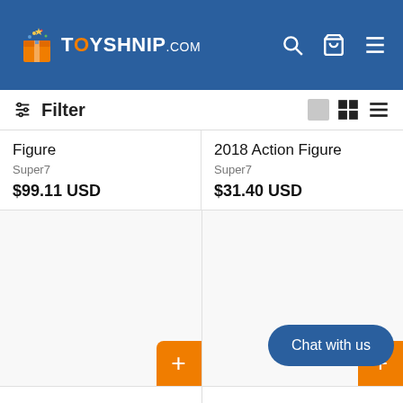TOYSHNIP.com
Filter
Figure
Super7
$99.11 USD
2018 Action Figure
Super7
$31.40 USD
Chat with us